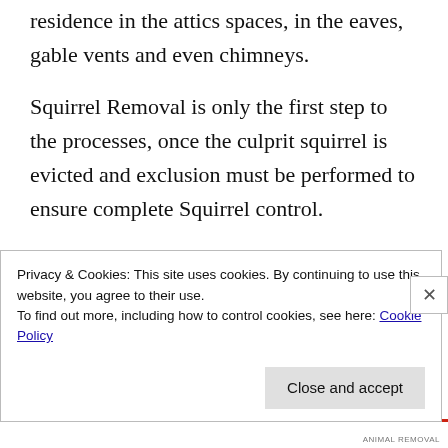Squirrels have learned to take up residence in the attics spaces, in the eaves, gable vents and even chimneys.
Squirrel Removal is only the first step to the processes, once the culprit squirrel is evicted and exclusion must be performed to ensure complete Squirrel control.
Animal Removal must be the…
Privacy & Cookies: This site uses cookies. By continuing to use this website, you agree to their use.
To find out more, including how to control cookies, see here: Cookie Policy